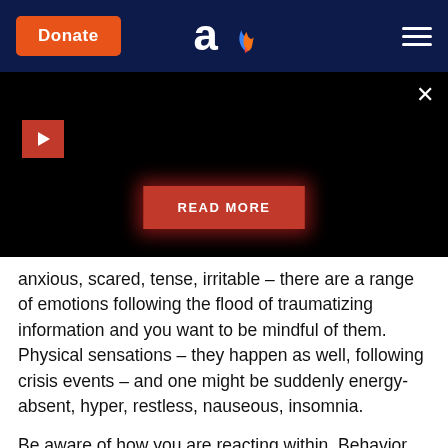[Figure (screenshot): Website header with orange Donate button, 'ao' logo with flame icon, and hamburger menu on dark navy background]
[Figure (screenshot): Black video player area with red play button in top left, X close button top right, and red READ MORE button with glow in center-bottom]
anxious, scared, tense, irritable – there are a range of emotions following the flood of traumatizing information and you want to be mindful of them. Physical sensations – they happen as well, following crisis events – and one might be suddenly energy-absent, hyper, restless, nauseous, insomnia.
Be aware of how you are reacting within. Behavior can seem different, you may have difficulty focusing. We each react, we all react our own ways, and step one is